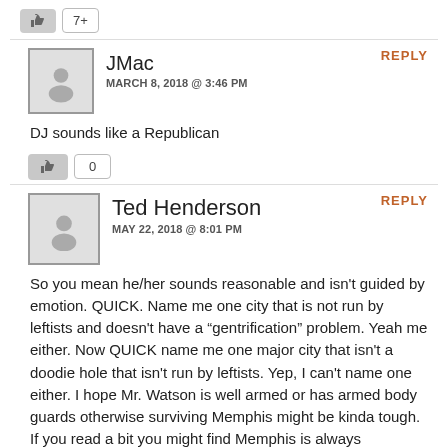[Figure (other): Like button with count 7+]
JMac
MARCH 8, 2018 @ 3:46 PM
REPLY
DJ sounds like a Republican
[Figure (other): Like button with count 0]
Ted Henderson
MAY 22, 2018 @ 8:01 PM
REPLY
So you mean he/her sounds reasonable and isn't guided by emotion. QUICK. Name me one city that is not run by leftists and doesn't have a “gentrification” problem. Yeah me either. Now QUICK name me one major city that isn't a doodie hole that isn't run by leftists. Yep, I can't name one either. I hope Mr. Watson is well armed or has armed body guards otherwise surviving Memphis might be kinda tough. If you read a bit you might find Memphis is always competing with Detroit for most dangerous city for clueless white folks to roam around in after dark.